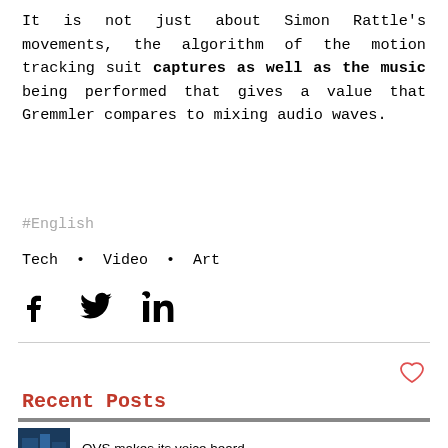It is not just about Simon Rattle's movements, the algorithm of the motion tracking suit captures as well as the music being performed that gives a value that Gremmler compares to mixing audio waves.
#English
Tech • Video • Art
[Figure (illustration): Social share icons: Facebook, Twitter, LinkedIn]
[Figure (illustration): Heart (like) icon in red/pink outline]
Recent Posts
[Figure (photo): Small thumbnail image with blue/dark tones, for OVS article]
OVS makes its voice heard